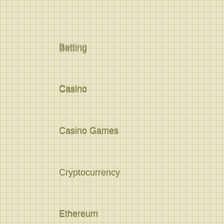Betting
Casino
Casino Games
Cryptocurrency
Ethereum
Gambling
Lottery
Poker
roulette
Slot
Uncategorized
Virtual Money